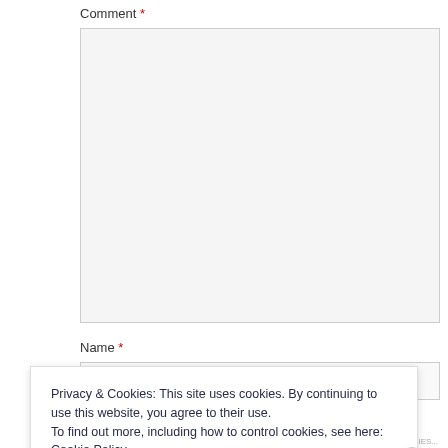Comment *
[Figure (screenshot): Large text area input field with light grey background for comment entry]
Name *
[Figure (screenshot): Single-line text input field for name entry]
Email *
Privacy & Cookies: This site uses cookies. By continuing to use this website, you agree to their use.
To find out more, including how to control cookies, see here: Cookie Policy
Close and accept